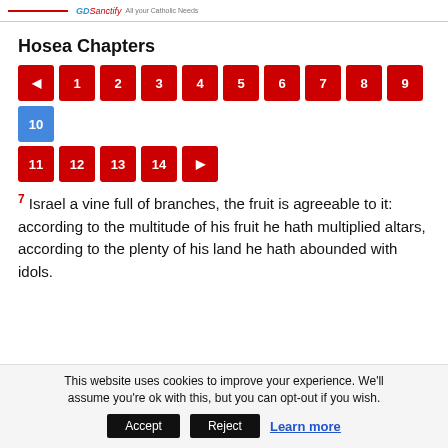All your Catholic Needs
Hosea Chapters
[Figure (other): Navigation buttons for Hosea chapters: back arrow, 1, 2, 3, 4, 5, 6, 7, 8, 9, 10 (active/blue), 11, 12, 13, 14, forward arrow]
7 Israel a vine full of branches, the fruit is agreeable to it: according to the multitude of his fruit he hath multiplied altars, according to the plenty of his land he hath abounded with idols.
This website uses cookies to improve your experience. We'll assume you're ok with this, but you can opt-out if you wish. Accept | Reject | Learn more